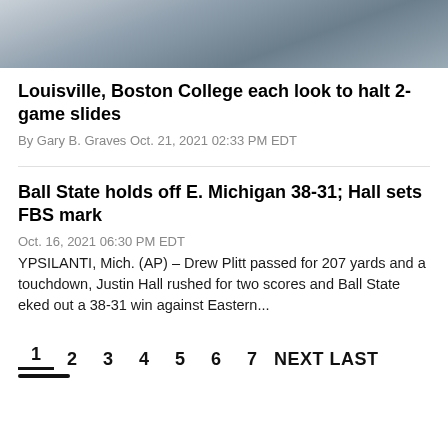[Figure (photo): Partial view of athletes in white uniforms, cropped at the top of the page]
Louisville, Boston College each look to halt 2-game slides
By Gary B. Graves Oct. 21, 2021 02:33 PM EDT
Ball State holds off E. Michigan 38-31; Hall sets FBS mark
Oct. 16, 2021 06:30 PM EDT
YPSILANTI, Mich. (AP) – Drew Plitt passed for 207 yards and a touchdown, Justin Hall rushed for two scores and Ball State eked out a 38-31 win against Eastern...
1 2 3 4 5 6 7 NEXT LAST